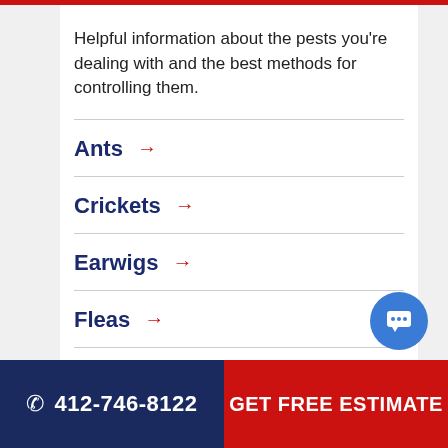Helpful information about the pests you're dealing with and the best methods for controlling them.
Ants →
Crickets →
Earwigs →
Fleas →
Flies →
Mosquitoes →
☎ 412-746-8122   GET FREE ESTIMATE